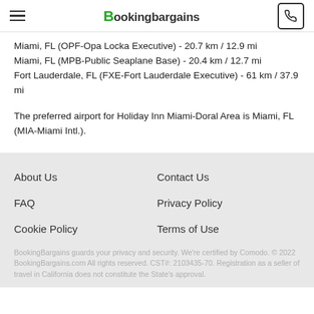BookingBargains
Miami, FL (OPF-Opa Locka Executive) - 20.7 km / 12.9 mi
Miami, FL (MPB-Public Seaplane Base) - 20.4 km / 12.7 mi
Fort Lauderdale, FL (FXE-Fort Lauderdale Executive) - 61 km / 37.9 mi
The preferred airport for Holiday Inn Miami-Doral Area is Miami, FL (MIA-Miami Intl.).
About Us
Contact Us
FAQ
Privacy Policy
Cookie Policy
Terms of Use
BookingBargains guards your privacy and security. We're certified by Comodo. © 2022 BookingBargains.com All rights reserved. CST#: 2103435-70. Registration as a seller of travel in California does not constitute the State's approval.